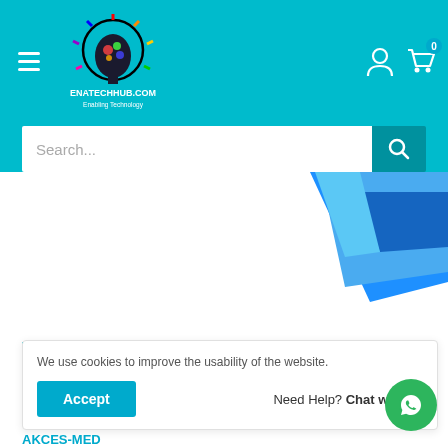ENATECHHUB.COM Enabling Technology
[Figure (screenshot): Website header with teal background, hamburger menu icon, Enatechhub.com logo with colorful brain icon, user account icon, and shopping cart icon with badge showing 0]
[Figure (screenshot): Search bar with placeholder text 'Search...' and teal search button with magnifying glass icon]
[Figure (photo): Blue product (tablet case or keyboard) visible in upper portion, angled view showing corner of the device]
[Figure (screenshot): Thumbnail image selector with teal border on first thumbnail]
We use cookies to improve the usability of the website.
Accept
Need Help? Chat with us
AKCES-MED